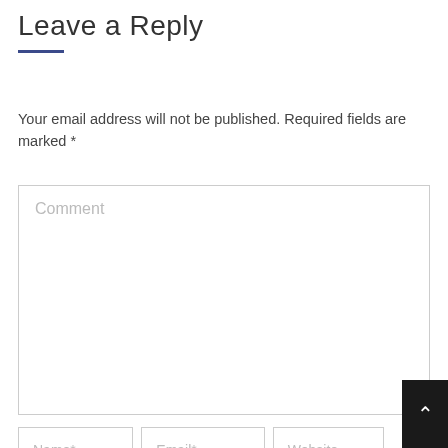Leave a Reply
Your email address will not be published. Required fields are marked *
Comment
Name*
Email*
Website